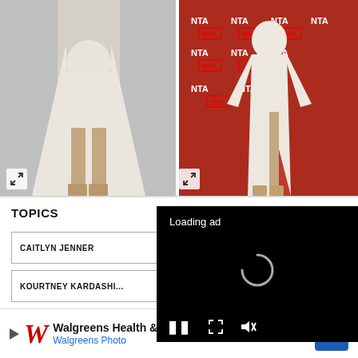[Figure (photo): Left photo: person wearing a white cape/split dress, gray background, with expand icon in bottom left corner]
[Figure (photo): Right photo: person wearing a white long-sleeve wrap dress on a red carpet with NTA and OK! logos in background, with expand icon in bottom left]
TOPICS
CAITLYN JENNER
KOURTNEY KARDASHIAN
[Figure (screenshot): Black video player overlay showing 'Loading ad' text, spinning loading indicator, and playback controls (pause, fullscreen, mute)]
[Figure (other): Walgreens Health & Wellness / Walgreens Photo advertisement banner with W logo and blue diamond icon]